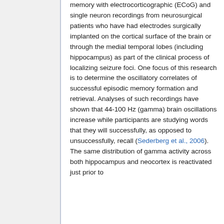memory with electrocorticographic (ECoG) and single neuron recordings from neurosurgical patients who have had electrodes surgically implanted on the cortical surface of the brain or through the medial temporal lobes (including hippocampus) as part of the clinical process of localizing seizure foci. One focus of this research is to determine the oscillatory correlates of successful episodic memory formation and retrieval. Analyses of such recordings have shown that 44-100 Hz (gamma) brain oscillations increase while participants are studying words that they will successfully, as opposed to unsuccessfully, recall (Sederberg et al., 2006). The same distribution of gamma activity across both hippocampus and neocortex is reactivated just prior to